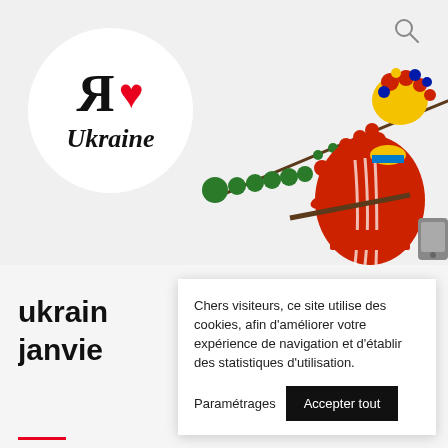[Figure (illustration): Website header banner with a white circle containing the 'Я ❤ Ukraine' logo (backwards R, red heart, italic Ukraine text), a decorative Ukrainian folk art illustration of a woman in traditional red embroidered dress with floral headdress in yellow, red, blue and green colors, and berries/botanical elements. Gray background. Search icon in top right.]
ukrain
janvie
Chers visiteurs, ce site utilise des cookies, afin d'améliorer votre expérience de navigation et d'établir des statistiques d'utilisation.
Paramétrages
Accepter tout